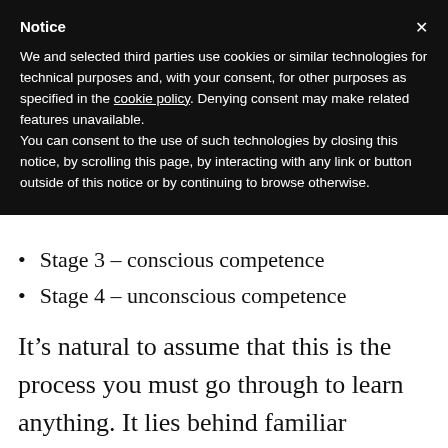Notice
We and selected third parties use cookies or similar technologies for technical purposes and, with your consent, for other purposes as specified in the cookie policy. Denying consent may make related features unavailable.
You can consent to the use of such technologies by closing this notice, by scrolling this page, by interacting with any link or button outside of this notice or by continuing to browse otherwise.
Stage 3 – conscious competence
Stage 4 – unconscious competence
It's natural to assume that this is the process you must go through to learn anything. It lies behind familiar traditional education methods.